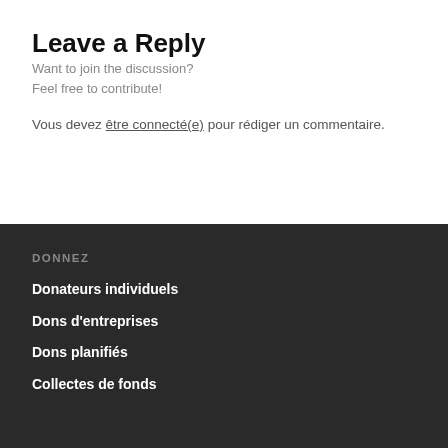Leave a Reply
Want to join the discussion?
Feel free to contribute!
Vous devez être connecté(e) pour rédiger un commentaire.
DONNEZ
Donateurs individuels
Dons d'entreprises
Dons planifiés
Collectes de fonds